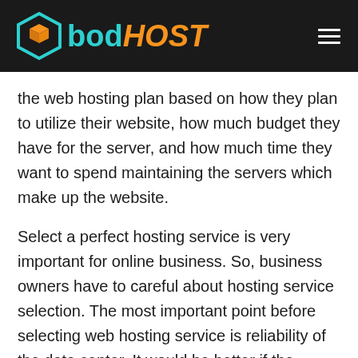bodHOST
the web hosting plan based on how they plan to utilize their website, how much budget they have for the server, and how much time they want to spend maintaining the servers which make up the website.
Select a perfect hosting service is very important for online business. So, business owners have to careful about hosting service selection. The most important point before selecting web hosting service is reliability of the data center. It would be better if the business owners get a clear idea about different levels of classification based on the ANSI/TIA-942 Telecommunications Infrastructure Standard for Data Centers.